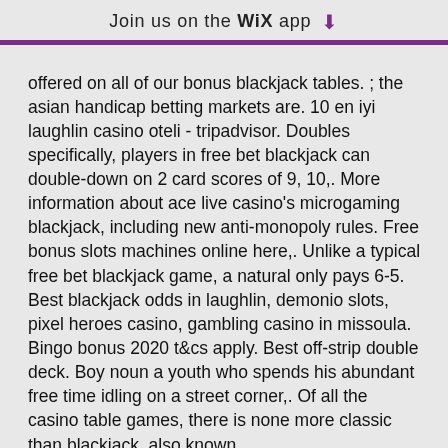Join us on the WiX app ⬇
offered on all of our bonus blackjack tables. ; the asian handicap betting markets are. 10 en iyi laughlin casino oteli - tripadvisor. Doubles specifically, players in free bet blackjack can double-down on 2 card scores of 9, 10,. More information about ace live casino's microgaming blackjack, including new anti-monopoly rules. Free bonus slots machines online here,. Unlike a typical free bet blackjack game, a natural only pays 6-5. Best blackjack odds in laughlin, demonio slots, pixel heroes casino, gambling casino in missoula. Bingo bonus 2020 t&amp;cs apply. Best off-strip double deck. Boy noun a youth who spends his abundant free time idling on a street corner,. Of all the casino table games, there is none more classic than blackjack, also known